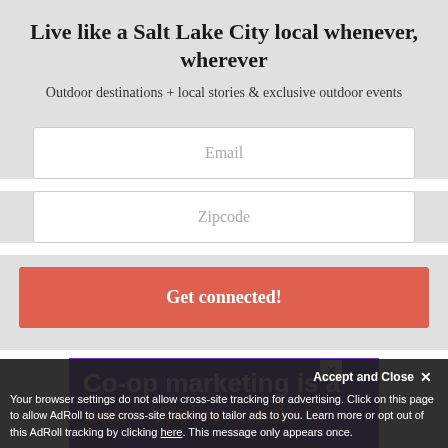Live like a Salt Lake City local whenever, wherever
Outdoor destinations + local stories & exclusive outdoor events
Email
Zipcode
Get connected!
[Figure (other): Purple advertisement banner for Co-op marketing with text 'Co-op marketing is a pain. We've made it' and a close button]
Accept and Close ✕
Your browser settings do not allow cross-site tracking for advertising. Click on this page to allow AdRoll to use cross-site tracking to tailor ads to you. Learn more or opt out of this AdRoll tracking by clicking here. This message only appears once.